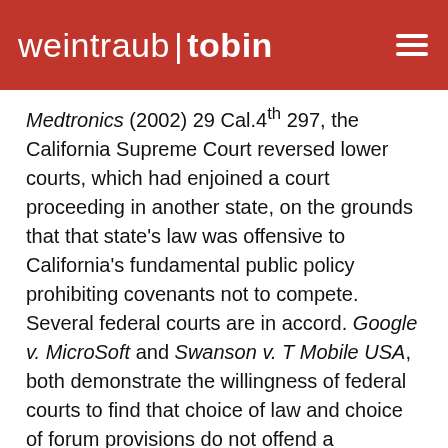[Figure (logo): weintraub tobin law firm logo on red background with hamburger menu icon]
Medtronics (2002) 29 Cal.4th 297, the California Supreme Court reversed lower courts, which had enjoined a court proceeding in another state, on the grounds that that state's law was offensive to California's fundamental public policy prohibiting covenants not to compete. Several federal courts are in accord. Google v. MicroSoft and Swanson v. T Mobile USA, both demonstrate the willingness of federal courts to find that choice of law and choice of forum provisions do not offend a fundamental California public policy.
In Swanson v. T Mobile, a former employer sought to enjoin competing conduct by a former employee by